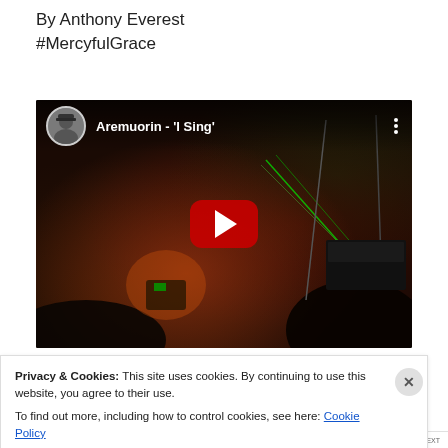By Anthony Everest
#MercyfulGrace
[Figure (screenshot): YouTube video embed showing 'Aremuorin - I Sing' with a concert photo background (dark stage with musicians, red and green lighting), a circular avatar in the top-left, the video title, three-dot menu, and a red play button in the center.]
Privacy & Cookies: This site uses cookies. By continuing to use this website, you agree to their use.
To find out more, including how to control cookies, see here: Cookie Policy
Close and accept